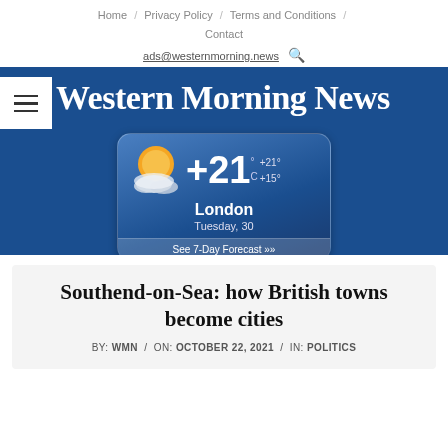Home / Privacy Policy / Terms and Conditions / Contact
ads@westernmorning.news 🔍
[Figure (screenshot): Western Morning News masthead on blue background with hamburger menu and weather widget showing +21°C, +21°/+15°, London, Tuesday 30, See 7-Day Forecast]
Southend-on-Sea: how British towns become cities
BY: WMN / ON: OCTOBER 22, 2021 / IN: POLITICS